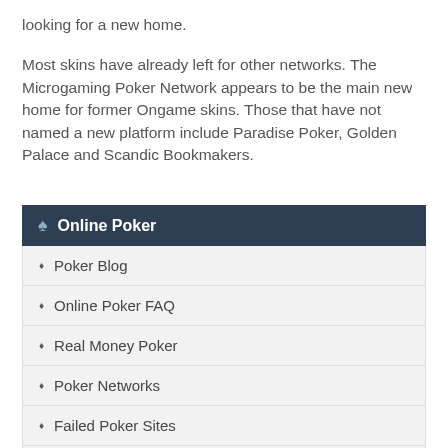looking for a new home.
Most skins have already left for other networks.  The Microgaming Poker Network appears to be the main new home for former Ongame skins.  Those that have not named a new platform include Paradise Poker, Golden Palace and Scandic Bookmakers.
Online Poker
Poker Blog
Online Poker FAQ
Real Money Poker
Poker Networks
Failed Poker Sites